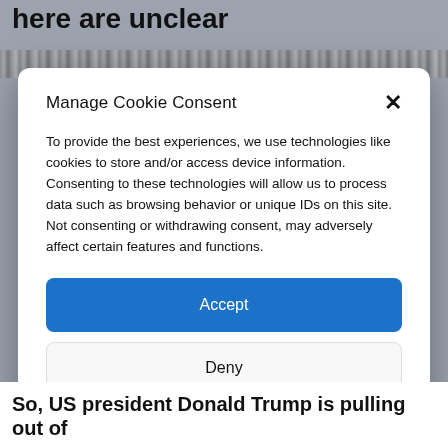here are unclear
[Figure (screenshot): Blurred/pixelated browser navigation bar]
Manage Cookie Consent
To provide the best experiences, we use technologies like cookies to store and/or access device information. Consenting to these technologies will allow us to process data such as browsing behavior or unique IDs on this site. Not consenting or withdrawing consent, may adversely affect certain features and functions.
Accept
Deny
View preferences
Cookie Policy  Privacy policy
So, US president Donald Trump is pulling out of